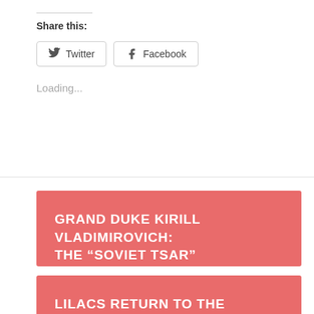Share this:
Twitter
Facebook
Loading...
GRAND DUKE KIRILL VLADIMIROVICH: THE “SOVIET TSAR”
LILACS RETURN TO THE ALEXANDER PALACE